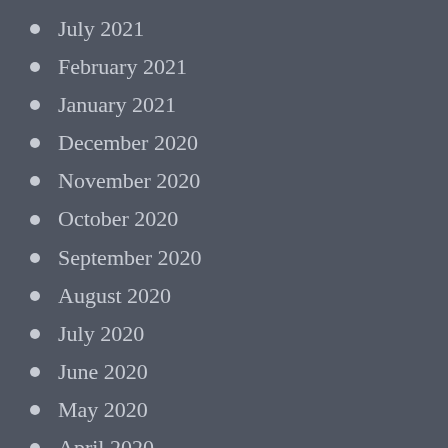July 2021
February 2021
January 2021
December 2020
November 2020
October 2020
September 2020
August 2020
July 2020
June 2020
May 2020
April 2020
December 2019
November 2019
October 2019
September 2019